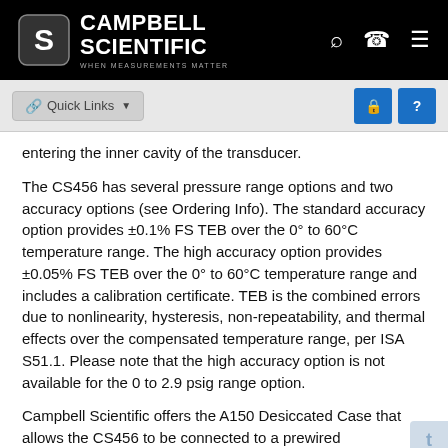[Figure (logo): Campbell Scientific logo with magnifying glass, phone, and menu icons on black navigation bar]
Quick Links dropdown button and two blue action buttons
entering the inner cavity of the transducer.
The CS456 has several pressure range options and two accuracy options (see Ordering Info). The standard accuracy option provides ±0.1% FS TEB over the 0° to 60°C temperature range. The high accuracy option provides ±0.05% FS TEB over the 0° to 60°C temperature range and includes a calibration certificate. TEB is the combined errors due to nonlinearity, hysteresis, non-repeatability, and thermal effects over the compensated temperature range, per ISA S51.1. Please note that the high accuracy option is not available for the 0 to 2.9 psig range option.
Campbell Scientific offers the A150 Desiccated Case that allows the CS456 to be connected to a prewired